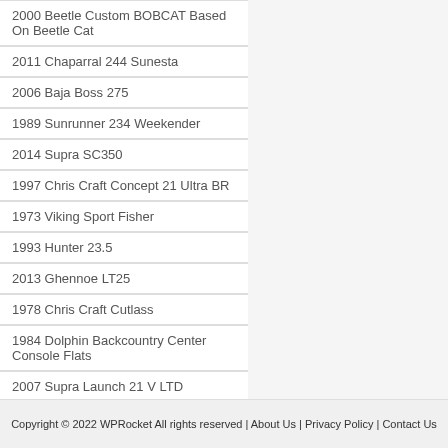2000 Beetle Custom BOBCAT Based On Beetle Cat
2011 Chaparral 244 Sunesta
2006 Baja Boss 275
1989 Sunrunner 234 Weekender
2014 Supra SC350
1997 Chris Craft Concept 21 Ultra BR
1973 Viking Sport Fisher
1993 Hunter 23.5
2013 Ghennoe LT25
1978 Chris Craft Cutlass
1984 Dolphin Backcountry Center Console Flats
2007 Supra Launch 21 V LTD
1989 Marinette Sedan 32
2007 Stratos 294 XL
Copyright © 2022 WPRocket All rights reserved | About Us | Privacy Policy | Contact Us